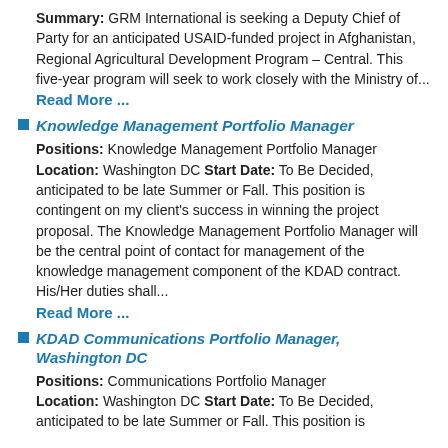Summary: GRM International is seeking a Deputy Chief of Party for an anticipated USAID-funded project in Afghanistan, Regional Agricultural Development Program – Central. This five-year program will seek to work closely with the Ministry of...
Read More ...
Knowledge Management Portfolio Manager
Positions: Knowledge Management Portfolio Manager Location: Washington DC Start Date: To Be Decided, anticipated to be late Summer or Fall. This position is contingent on my client's success in winning the project proposal. The Knowledge Management Portfolio Manager will be the central point of contact for management of the knowledge management component of the KDAD contract. His/Her duties shall...
Read More ...
KDAD Communications Portfolio Manager, Washington DC
Positions: Communications Portfolio Manager Location: Washington DC Start Date: To Be Decided, anticipated to be late Summer or Fall. This position is